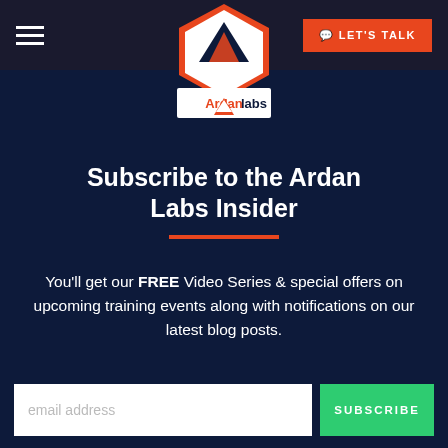Ardan Labs navigation bar with hamburger menu and LET'S TALK button
[Figure (logo): Ardan Labs logo — orange and dark pentagon shield with mountain/arrow graphic and 'Ardan labs' wordmark]
Subscribe to the Ardan Labs Insider
You'll get our FREE Video Series & special offers on upcoming training events along with notifications on our latest blog posts.
email address  SUBSCRIBE